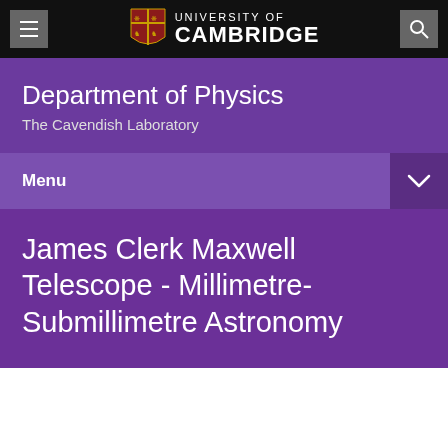University of Cambridge — Department of Physics, The Cavendish Laboratory
Department of Physics
The Cavendish Laboratory
Menu
James Clerk Maxwell Telescope - Millimetre-Submillimetre Astronomy